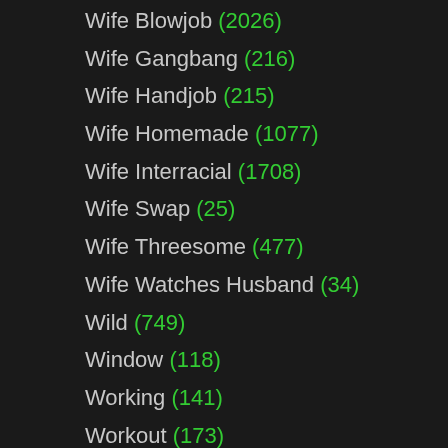Wife Blowjob (2026)
Wife Gangbang (216)
Wife Handjob (215)
Wife Homemade (1077)
Wife Interracial (1708)
Wife Swap (25)
Wife Threesome (477)
Wife Watches Husband (34)
Wild (749)
Window (118)
Working (141)
Workout (173)
Worship (888)
Wrestling (176)
Yacht (8)
Yoga (527)